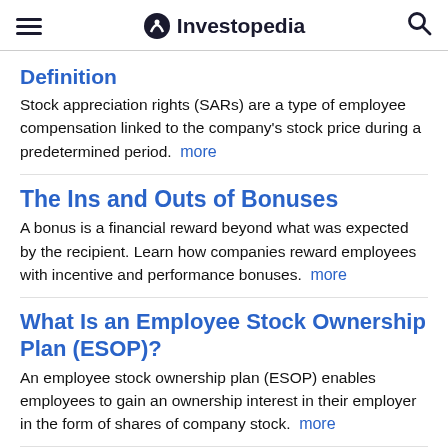Investopedia
Definition
Stock appreciation rights (SARs) are a type of employee compensation linked to the company's stock price during a predetermined period.  more
The Ins and Outs of Bonuses
A bonus is a financial reward beyond what was expected by the recipient. Learn how companies reward employees with incentive and performance bonuses.  more
What Is an Employee Stock Ownership Plan (ESOP)?
An employee stock ownership plan (ESOP) enables employees to gain an ownership interest in their employer in the form of shares of company stock.  more
How Escrow Protects Parties in